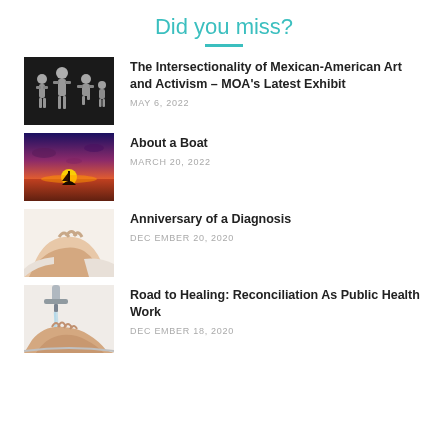Did you miss?
The Intersectionality of Mexican-American Art and Activism – MOA's Latest Exhibit
MAY 6, 2022
About a Boat
MARCH 20, 2022
Anniversary of a Diagnosis
DECEMBER 20, 2020
Road to Healing: Reconciliation As Public Health Work
DECEMBER 18, 2020